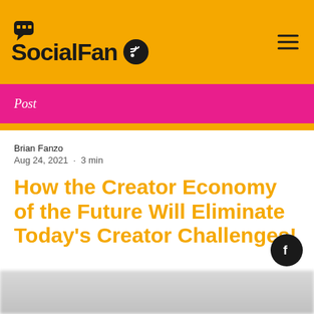SocialFan
Post
Brian Fanzo
Aug 24, 2021  ·  3 min
How the Creator Economy of the Future Will Eliminate Today's Creator Challenges!
[Figure (photo): Blurred image strip at bottom of page]